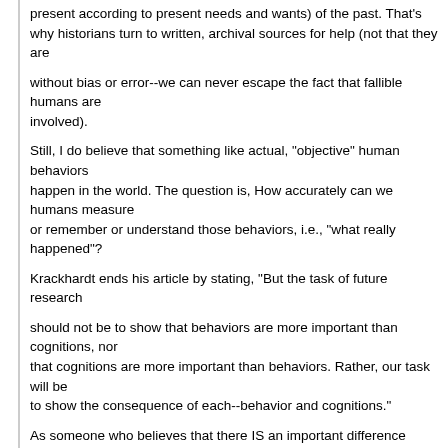present according to present needs and wants) of the past. That's why historians turn to written, archival sources for help (not that they are
without bias or error--we can never escape the fact that fallible humans are
involved).
Still, I do believe that something like actual, "objective" human behaviors
happen in the world. The question is, How accurately can we humans measure
or remember or understand those behaviors, i.e., "what really happened"?
Krackhardt ends his article by stating, "But the task of future research
should not be to show that behaviors are more important than cognitions, nor
that cognitions are more important than behaviors. Rather, our task will be
to show the consequence of each--behavior and cognitions."
As someone who believes that there IS an important difference between a memoir and a piece of fiction, I would have to say that, in some sense, the
behaviors must take precedence (although I admit that "behavior" is itself a
cognitive creation; we never escape from our mental jail): we need to make
certain that our cognition about the past doesn't willfully (or even
unintentionally) distort past behaviors.
Michael C. Reed, Ph.D.